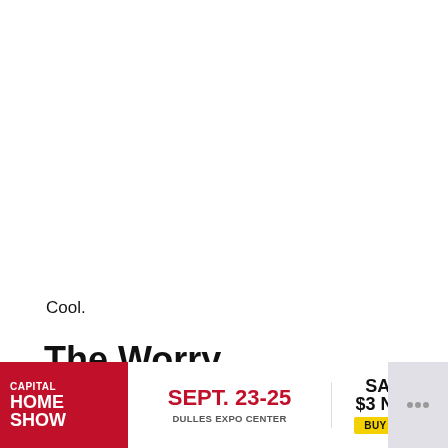Cool.
The Worry
Will the co-op nature of Wolfenstein: Youngblood ruin
[Figure (other): Advertisement banner for Capital Home Show, Sept. 23-25, Dulles Expo Center, with Save $3 Now / Buy Now button]